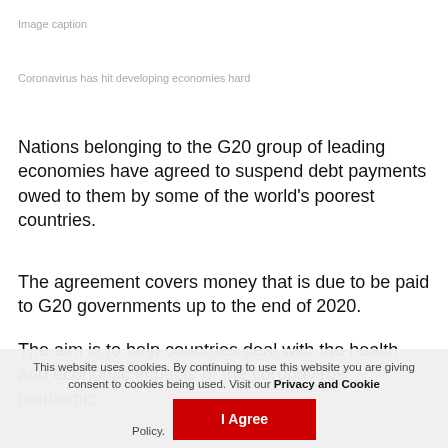Image caption
Coronavirus has hit developing economies hard
Nations belonging to the G20 group of leading economies have agreed to suspend debt payments owed to them by some of the world's poorest countries.
The agreement covers money that is due to be paid to G20 governments up to the end of 2020.
The aim is to help countries deal with the health and economic impacts of the coronavirus pandemic.
This website uses cookies. By continuing to use this website you are giving consent to cookies being used. Visit our Privacy and Cookie Policy. I Agree